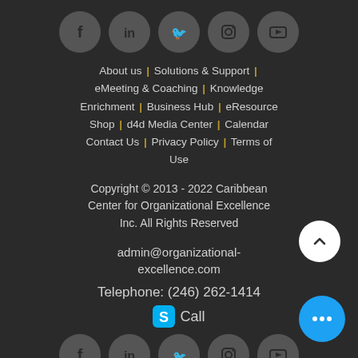[Figure (other): Row of 5 social media icon circles (Facebook, LinkedIn, Twitter, Instagram, YouTube) in gray]
About us | Solutions & Support | eMeeting & Coaching | Knowledge Enrichment | Business Hub | eResource Shop | d4d Media Center | Calendar Contact Us | Privacy Policy | Terms of Use
Copyright © 2013 - 2022 Caribbean Center for Organizational Excellence Inc. All Rights Reserved
admin@organizational-excellence.com
Telephone: (246) 262-1414
S Call
[Figure (other): Row of 5 social media icon circles (Facebook, LinkedIn, Twitter, Instagram, YouTube) in gray at bottom]
[Figure (other): White circle scroll-to-top button with upward chevron]
[Figure (other): Blue circle chat button with three dots]